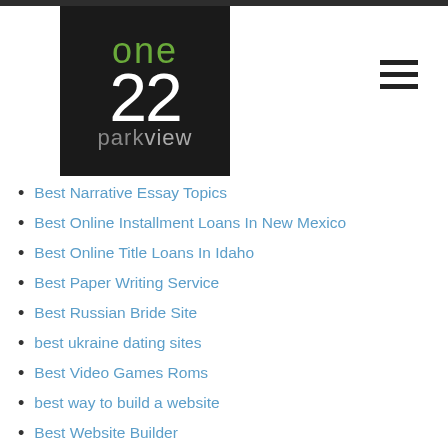[Figure (logo): One22 Parkview logo — dark background with green 'one', white '22', and grey 'parkview' text]
Best Narrative Essay Topics
Best Online Installment Loans In New Mexico
Best Online Title Loans In Idaho
Best Paper Writing Service
Best Russian Bride Site
best ukraine dating sites
Best Video Games Roms
best way to build a website
Best Website Builder
Best Woman To Marry
beste online casino karamba